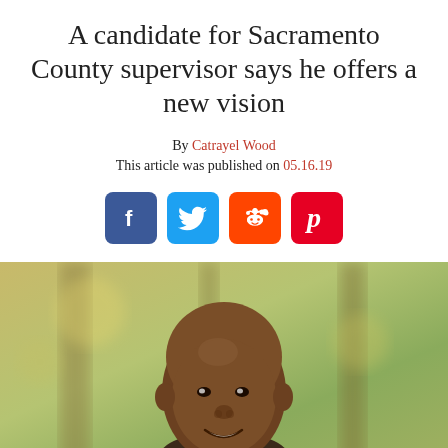A candidate for Sacramento County supervisor says he offers a new vision
By Catrayel Wood
This article was published on 05.16.19
[Figure (photo): Social media sharing icons: Facebook (blue), Twitter (light blue), Reddit (orange), Pinterest (red) — four rounded square icons in a row]
[Figure (photo): Portrait photo of a bald Black man smiling, with a blurred green outdoor background]